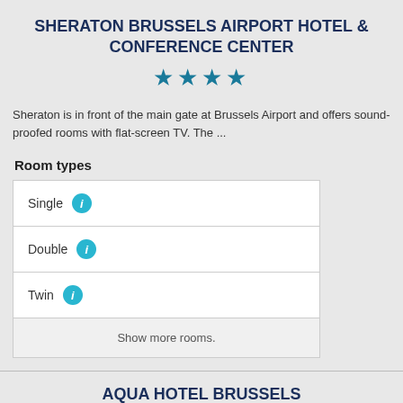SHERATON BRUSSELS AIRPORT HOTEL & CONFERENCE CENTER
[Figure (illustration): Four teal star icons representing 4-star hotel rating]
Sheraton is in front of the main gate at Brussels Airport and offers sound-proofed rooms with flat-screen TV. The ...
Room types
Single
Double
Twin
Show more rooms.
AQUA HOTEL BRUSSELS
[Figure (illustration): Star icons representing hotel rating for Aqua Hotel Brussels]